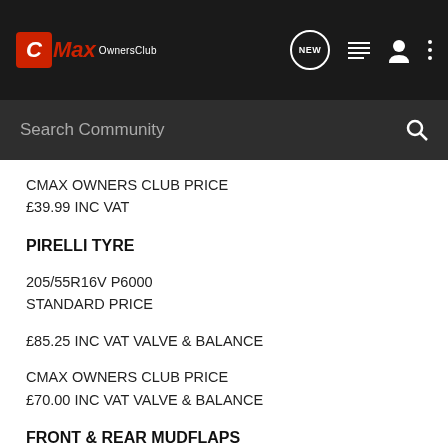C-Max OwnersClub — navigation bar with NEW, list, user, and dots icons
Search Community
CMAX OWNERS CLUB PRICE
£39.99 INC VAT
PIRELLI TYRE
205/55R16V P6000
STANDARD PRICE
£85.25 INC VAT VALVE & BALANCE
CMAX OWNERS CLUB PRICE
£70.00 INC VAT VALVE & BALANCE
FRONT & REAR MUDFLAPS